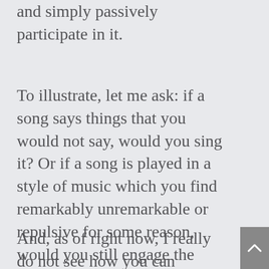and simply passively participate in it.
To illustrate, let me ask: if a song says things that you would not say, would you sing it? Or if a song is played in a style of music which you find remarkably unremarkable or repulsive for some reason, would you still engage the music and sing the song? I don't think so, unless you had something to prove.
And, as of right now, I really do not see how you can compromise over doing what are, by definition, personal